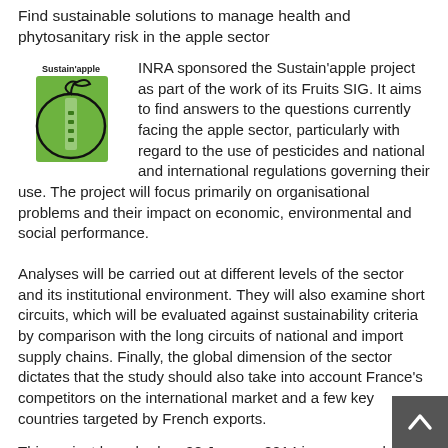Find sustainable solutions to manage health and phytosanitary risk in the apple sector
[Figure (logo): Sustain'apple project logo — green apple with text 'Sustain'apple' above it]
INRA sponsored the Sustain'apple project as part of the work of its Fruits SIG. It aims to find answers to the questions currently facing the apple sector, particularly with regard to the use of pesticides and national and international regulations governing their use. The project will focus primarily on organisational problems and their impact on economic, environmental and social performance.
Analyses will be carried out at different levels of the sector and its institutional environment. They will also examine short circuits, which will be evaluated against sustainability criteria by comparison with the long circuits of national and import supply chains. Finally, the global dimension of the sector dictates that the study should also take into account France's competitors on the international market and a few key countries targeted by French exports.
This project launched on 28 January 2014 is overseen by a broad R&D consortium (INRA, Cirad, Irstea, Montpellier SupAgro, UAPV,